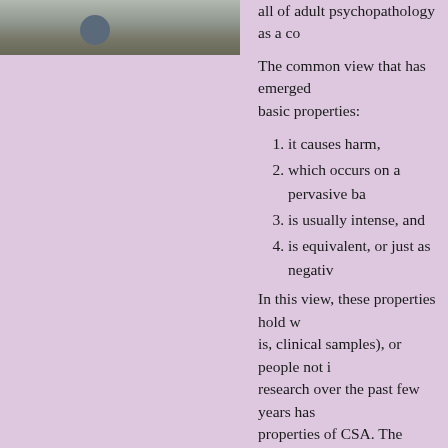[Figure (photo): Photograph showing a child's feet/legs near playground equipment on a concrete surface]
all of adult psychopathology as a co...
The common view that has emerged... basic properties:
1. it causes harm,
2. which occurs on a pervasive ba...
3. is usually intense, and
4. is equivalent, or just as negativ...
In this view, these properties hold w... is, clinical samples), or people not i... research over the past few years has... properties of CSA. The question tha... answer in this presentation, is: For p... experience cause intense psychologi...
Before we describe our research, it i... sexual abuse has been used in the ps... sexual interactions between children... well as between same-age children c... indiscriminate use of this term and r... been criticized by various researcher...